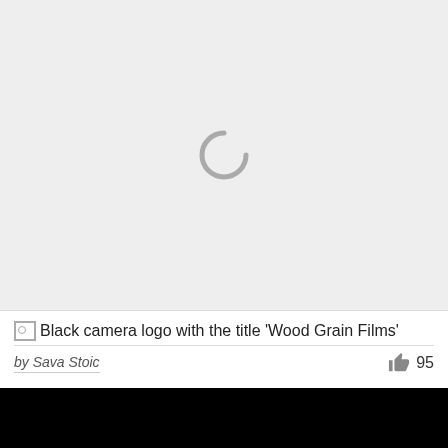[Figure (other): Loading spinner (gray arc/circle) on a light gray background — image failed to load]
Black camera logo with the title 'Wood Grain Films'
by Sava Stoic   👍 95
[Figure (other): Black rectangle at the bottom (partial view of next content)]